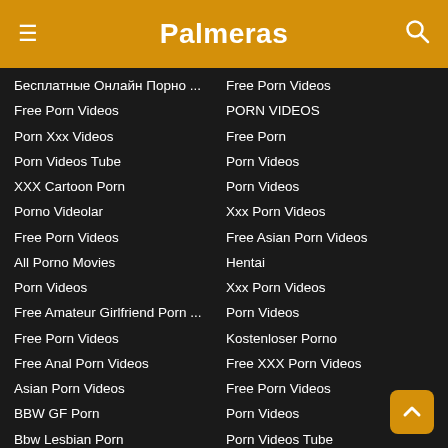Palmeras
Бесплатные Онлайн Порно ...
Free Porn Videos
Porn Xxx Videos
Porn Videos Tube
XXX Cartoon Porn
Porno Videolar
Free Porn Videos
All Porno Movies
Porn Videos
Free Amateur Girlfriend Porn ...
Free Porn Videos
Free Anal Porn Videos
Asian Porn Videos
BBW GF Porn
Bbw Lesbian Porn
Beastiality Porn Movies
Free Porn
Desi Porn
Only Porn Videos
Blowjob Free Porn
Free Porn Videos
PORN VIDEOS
Free Porn
Porn Videos
Porn Videos
Xxx Porn Videos
Free Asian Porn Videos
Hentai
Xxx Porn Videos
Porn Videos
Kostenloser Porno
Free XXX Porn Videos
Free Porn Videos
Porn Videos
Porn Videos Tube
Free Porn Videos
Porno Beurette
XXX Porn Videos
Video Porno Gratis
Порно Видео XXX